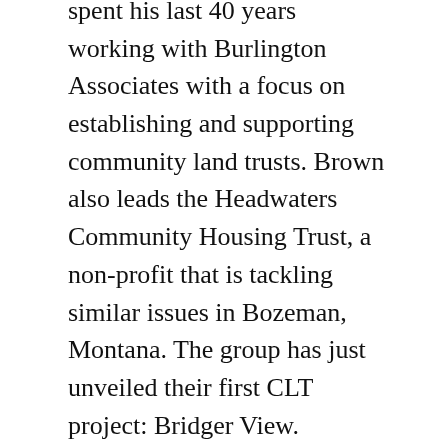spent his last 40 years working with Burlington Associates with a focus on establishing and supporting community land trusts. Brown also leads the Headwaters Community Housing Trust, a non-profit that is tackling similar issues in Bozeman, Montana. The group has just unveiled their first CLT project: Bridger View.
Community land trusts are one housing strategy that is being employed in a number of communities facing the same challenges that Bonner County is currently experiencing.
Additional panelists will include KLT Executive Director Katie Cox and Ponderay City Community Development Director Erik